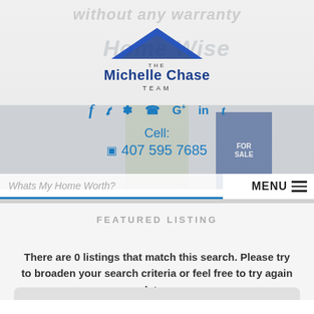[Figure (logo): Home Wise / The Michelle Chase Team logo with roof graphic in blue]
f  Twitter  Yelp  Phone  G+  in  t — social icons row
Cell:
📱 407 595 7685
Whats My Home Worth?
MENU ☰
FEATURED LISTING
There are 0 listings that match this search. Please try to broaden your search criteria or feel free to try again later.